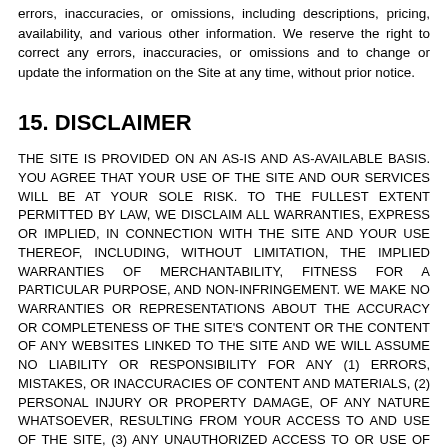errors, inaccuracies, or omissions, including descriptions, pricing, availability, and various other information. We reserve the right to correct any errors, inaccuracies, or omissions and to change or update the information on the Site at any time, without prior notice.
15. DISCLAIMER
THE SITE IS PROVIDED ON AN AS-IS AND AS-AVAILABLE BASIS. YOU AGREE THAT YOUR USE OF THE SITE AND OUR SERVICES WILL BE AT YOUR SOLE RISK. TO THE FULLEST EXTENT PERMITTED BY LAW, WE DISCLAIM ALL WARRANTIES, EXPRESS OR IMPLIED, IN CONNECTION WITH THE SITE AND YOUR USE THEREOF, INCLUDING, WITHOUT LIMITATION, THE IMPLIED WARRANTIES OF MERCHANTABILITY, FITNESS FOR A PARTICULAR PURPOSE, AND NON-INFRINGEMENT. WE MAKE NO WARRANTIES OR REPRESENTATIONS ABOUT THE ACCURACY OR COMPLETENESS OF THE SITE'S CONTENT OR THE CONTENT OF ANY WEBSITES LINKED TO THE SITE AND WE WILL ASSUME NO LIABILITY OR RESPONSIBILITY FOR ANY (1) ERRORS, MISTAKES, OR INACCURACIES OF CONTENT AND MATERIALS, (2) PERSONAL INJURY OR PROPERTY DAMAGE, OF ANY NATURE WHATSOEVER, RESULTING FROM YOUR ACCESS TO AND USE OF THE SITE, (3) ANY UNAUTHORIZED ACCESS TO OR USE OF OUR SECURE SERVERS AND/OR ANY AND ALL PERSONAL INFORMATION AND/OR FINANCIAL INFORMATION STORED THEREIN, (4) ANY INTERRUPTION OR